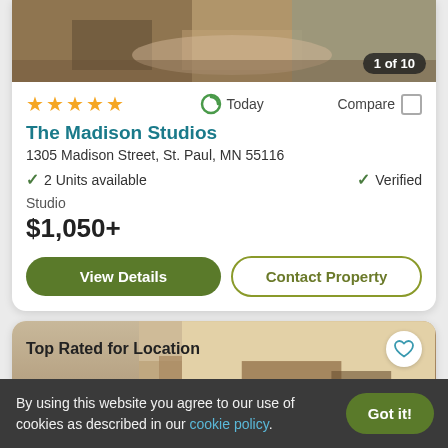[Figure (photo): Interior room photo showing rug and furniture, with badge '1 of 10']
★★★★★   Today   Compare
The Madison Studios
1305 Madison Street, St. Paul, MN 55116
✓ 2 Units available   ✓ Verified
Studio
$1,050+
View Details   Contact Property
[Figure (photo): Second property listing photo with 'Top Rated for Location' badge and heart icon]
By using this website you agree to our use of cookies as described in our cookie policy.
Got it!